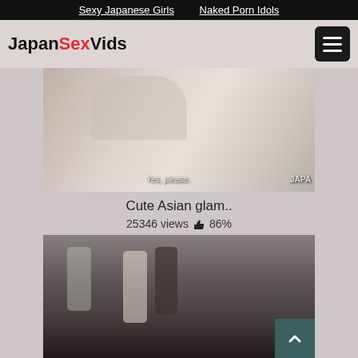Sexy Japanese Girls   Naked Porn Idols
JapanSexVids
[Figure (screenshot): Video thumbnail showing close-up of person in white robe with subtitle 'Yes, please.' and watermark 'JAPA']
Cute Asian glam..
25346 views 👍 86%
[Figure (screenshot): Video thumbnail showing two people outside near a fence, one in white dress]